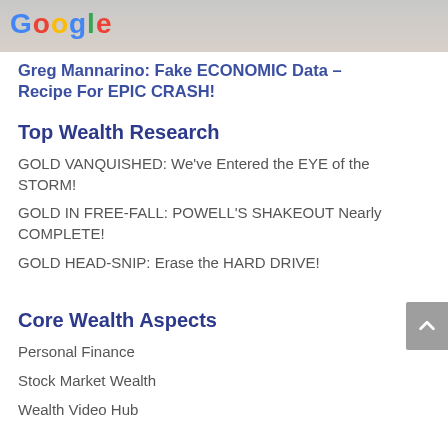[Figure (photo): Partial photo showing a person with Google logo visible at the top]
Greg Mannarino: Fake ECONOMIC Data – Recipe For EPIC CRASH!
Top Wealth Research
GOLD VANQUISHED: We've Entered the EYE of the STORM!
GOLD IN FREE-FALL: POWELL'S SHAKEOUT Nearly COMPLETE!
GOLD HEAD-SNIP: Erase the HARD DRIVE!
Core Wealth Aspects
Personal Finance
Stock Market Wealth
Wealth Video Hub